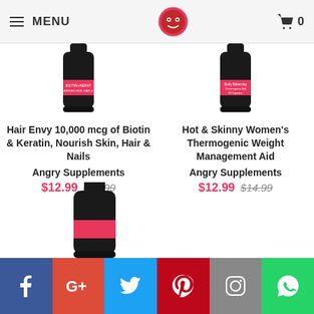MENU | [logo] | [cart] 0
[Figure (photo): Product bottle: Hair Envy 10,000 mcg Biotin + Keratin, Nourishes Skin, Hair & Nails - dark bottle with pink label]
Hair Envy 10,000 mcg of Biotin & Keratin, Nourish Skin, Hair & Nails
Angry Supplements
$12.99  $15.99
[Figure (photo): Product bottle: Hot & Skinny Body Balancing Thermogenic Aid - dark bottle with pink label]
Hot & Skinny Women's Thermogenic Weight Management Aid
Angry Supplements
$12.99  $14.99
[Figure (photo): Product bottle (partial): dark bottle with pink label, bottom portion visible]
[Figure (infographic): Social media share bar with icons: Facebook (blue), Google+ (red), Twitter (cyan), Pinterest (pink), Instagram (grey), WhatsApp (green)]